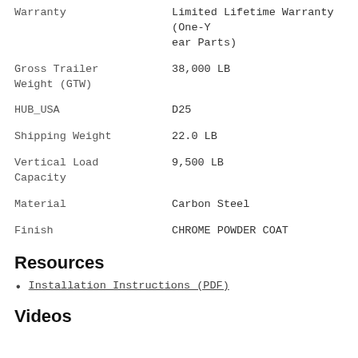| Attribute | Value |
| --- | --- |
| Warranty | Limited Lifetime Warranty (One-Year Parts) |
| Gross Trailer Weight (GTW) | 38,000 LB |
| HUB_USA | D25 |
| Shipping Weight | 22.0 LB |
| Vertical Load Capacity | 9,500 LB |
| Material | Carbon Steel |
| Finish | CHROME POWDER COAT |
Resources
Installation Instructions (PDF)
Videos